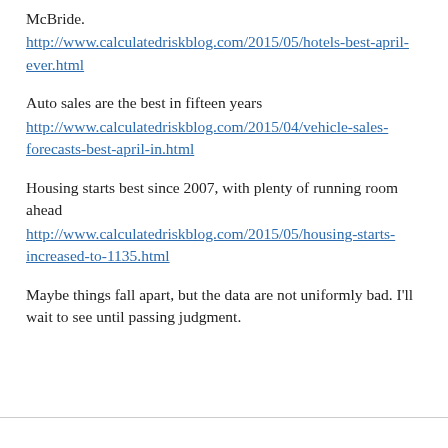McBride.
http://www.calculatedriskblog.com/2015/05/hotels-best-april-ever.html
Auto sales are the best in fifteen years
http://www.calculatedriskblog.com/2015/04/vehicle-sales-forecasts-best-april-in.html
Housing starts best since 2007, with plenty of running room ahead
http://www.calculatedriskblog.com/2015/05/housing-starts-increased-to-1135.html
Maybe things fall apart, but the data are not uniformly bad. I'll wait to see until passing judgment.